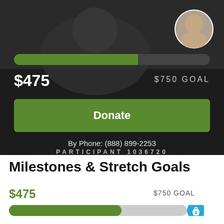[Figure (photo): Dark background with partial view of a person and a circular profile photo of a young person in upper right]
[Figure (infographic): Progress bar showing $475 raised of $750 goal, approximately 63% filled in green]
$475
$750 GOAL
Donate
By Phone: (888) 899-2253
PARTICIPANT 1036720
Milestones & Stretch Goals
$475
$750 GOAL
[Figure (infographic): Progress bar showing $475 of $750 goal (~63% filled green) with a blue money bag icon on the right end]